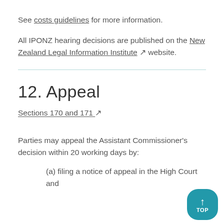See costs guidelines for more information.
All IPONZ hearing decisions are published on the New Zealand Legal Information Institute ↗ website.
12. Appeal
Sections 170 and 171 ↗
Parties may appeal the Assistant Commissioner's decision within 20 working days by:
(a) filing a notice of appeal in the High Court and